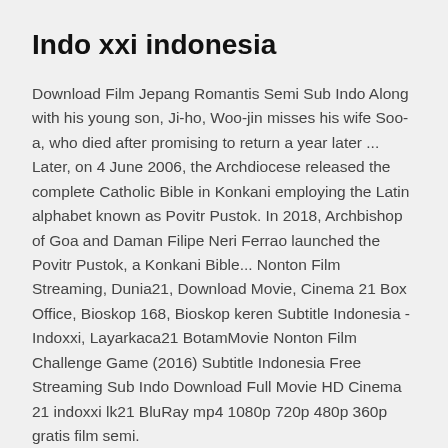Indo xxi indonesia
Download Film Jepang Romantis Semi Sub Indo Along with his young son, Ji-ho, Woo-jin misses his wife Soo-a, who died after promising to return a year later ... Later, on 4 June 2006, the Archdiocese released the complete Catholic Bible in Konkani employing the Latin alphabet known as Povitr Pustok. In 2018, Archbishop of Goa and Daman Filipe Neri Ferrao launched the Povitr Pustok, a Konkani Bible... Nonton Film Streaming, Dunia21, Download Movie, Cinema 21 Box Office, Bioskop 168, Bioskop keren Subtitle Indonesia - Indoxxi, Layarkaca21 BotamMovie Nonton Film Challenge Game (2016) Subtitle Indonesia Free Streaming Sub Indo Download Full Movie HD Cinema 21 indoxxi lk21 BluRay mp4 1080p 720p 480p 360p gratis film semi.